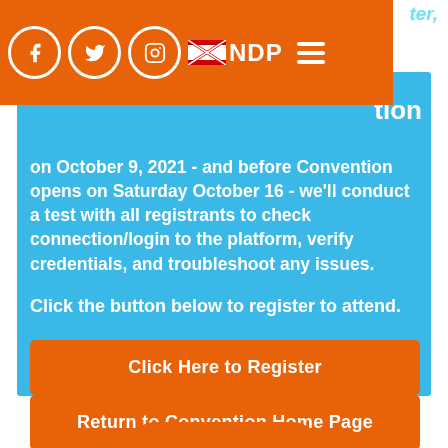NDP navigation bar with Facebook, Twitter, Instagram icons and NDP logo
on October 9, 2021 - and before Convention opens on Saturday October 16 - we'll conduct a test with all registrants to check connection/login to the platform, verify credentials, and troubleshoot any issues.
Click the button below to register to attend.
Click Here to Register
Return to Convention Home Page